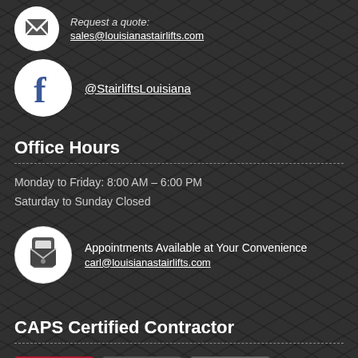Request a quote:
sales@louisianastairlifts.com
[Figure (logo): Facebook logo icon in white circle]
@StairliftsLouisiana
Office Hours
Monday to Friday: 8:00 AM – 6:00 PM
Saturday to Sunday Closed
[Figure (illustration): Phone/mail icon in white circle]
Appointments Available at Your Convenience
carl@louisianastairlifts.com
CAPS Certified Contractor